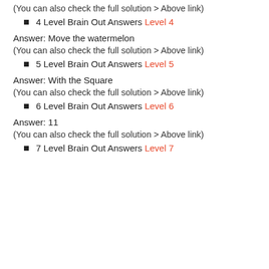(You can also check the full solution > Above link)
4 Level Brain Out Answers Level 4
Answer: Move the watermelon
(You can also check the full solution > Above link)
5 Level Brain Out Answers Level 5
Answer: With the Square
(You can also check the full solution > Above link)
6 Level Brain Out Answers Level 6
Answer: 11
(You can also check the full solution > Above link)
7 Level Brain Out Answers Level 7